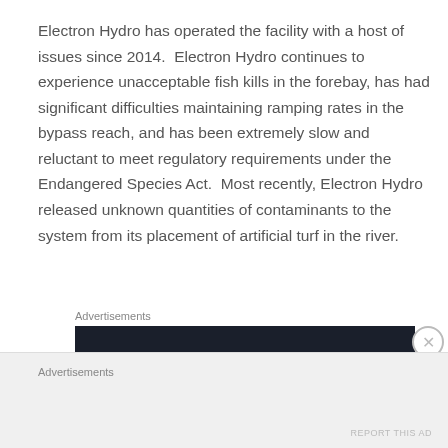Electron Hydro has operated the facility with a host of issues since 2014.  Electron Hydro continues to experience unacceptable fish kills in the forebay, has had significant difficulties maintaining ramping rates in the bypass reach, and has been extremely slow and reluctant to meet regulatory requirements under the Endangered Species Act.  Most recently, Electron Hydro released unknown quantities of contaminants to the system from its placement of artificial turf in the river.
Advertisements
[Figure (other): Dark advertisement banner with teal text reading 'Turn your blog']
Advertisements